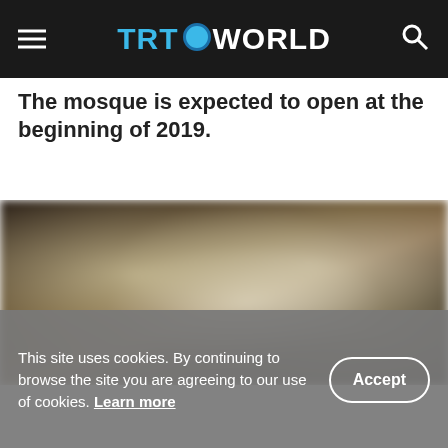TRT WORLD
The mosque is expected to open at the beginning of 2019.
[Figure (photo): Blurred interior photograph showing what appears to be a mosque or prayer space with construction or renovation work, people and partitions visible.]
This site uses cookies. By continuing to browse the site you are agreeing to our use of cookies. Learn more